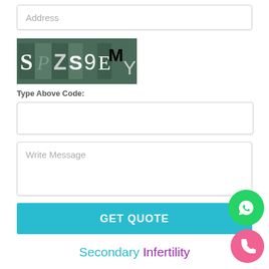Address
[Figure (other): CAPTCHA image showing characters S P Z S 9 E M Y on a dark green/grey background]
Type Above Code:
Write Message
GET QUOTE
Secondary Infertility
Turning Patients into parents...
Secondary Infertility Treatment Clinic in Hyderabad,Secondary Infertility Treatment in Hyderabad. Genetic counseling is the